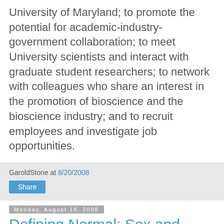University of Maryland; to promote the potential for academic-industry-government collaboration; to meet University scientists and interact with graduate student researchers; to network with colleagues who share an interest in the promotion of bioscience and the bioscience industry; and to recruit employees and investigate job opportunities.
GaroldStone at 8/20/2008  [Share button]
Monday, August 18, 2008
Defining Normal: Sex and Gender Misconceptions
Saturday, Oct 11, 1:30 pm
Public & FREE -- No RSVP (Flyer)